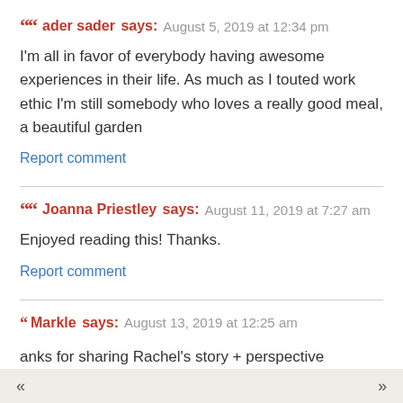ader sader says: August 5, 2019 at 12:34 pm
I'm all in favor of everybody having awesome experiences in their life. As much as I touted work ethic I'm still somebody who loves a really good meal, a beautiful garden
Report comment
Joanna Priestley says: August 11, 2019 at 7:27 am
Enjoyed reading this! Thanks.
Report comment
Markle says: August 13, 2019 at 12:25 am
anks for sharing Rachel's story + perspective